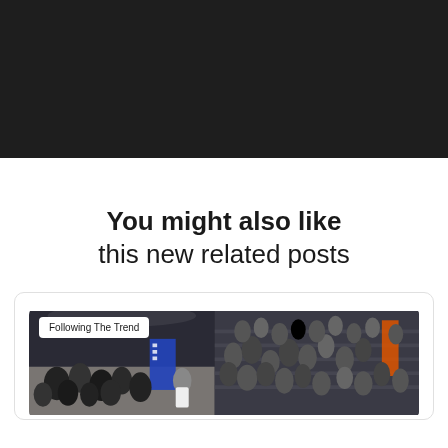[Figure (photo): Dark background section at top of page]
You might also like
this new related posts
[Figure (photo): Card with a photo of a crowd at an event/conference, with a white tag label reading 'Following The Trend']